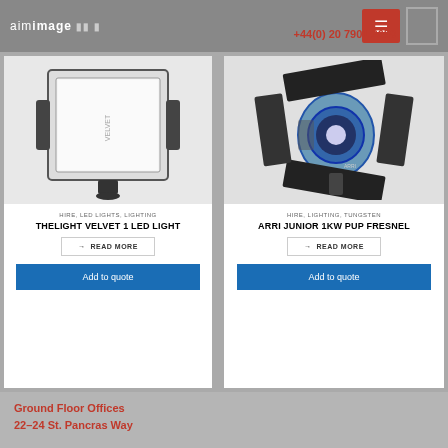aimimage | +44(0) 20 7901 2650
[Figure (photo): TheLight Velvet 1 LED Light panel with black frame on stand]
HIRE, LED LIGHTS, LIGHTING
THELIGHT VELVET 1 LED LIGHT
→ READ MORE
Add to quote
[Figure (photo): ARRI Junior 1kW Pup Fresnel spotlight with barn doors, blue and black]
HIRE, LIGHTING, TUNGSTEN
ARRI JUNIOR 1KW PUP FRESNEL
→ READ MORE
Add to quote
Ground Floor Offices